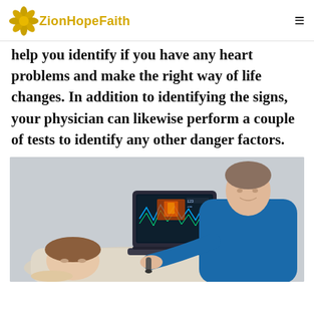ZionHopeFaith
help you identify if you have any heart problems and make the right way of life changes. In addition to identifying the signs, your physician can likewise perform a couple of tests to identify any other danger factors.
[Figure (photo): A male healthcare professional in blue scrubs performing an ultrasound examination on a female patient lying down, with an ultrasound machine/laptop displaying imaging results visible in the background.]